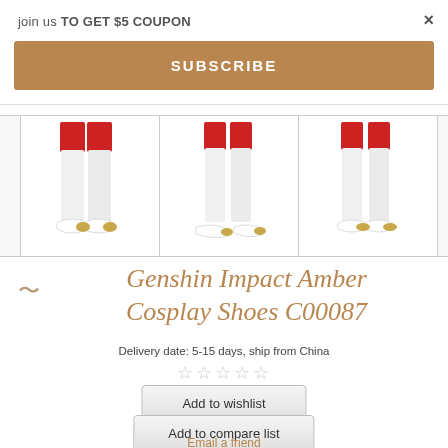× (close button)
join us TO GET $5 COUPON
SUBSCRIBE
[Figure (photo): Three product photos showing cosplay shoes/boots with white stockings, red shorts, and gold-tipped white shoes from different angles]
Genshin Impact Amber Cosplay Shoes C00087
Delivery date: 5-15 days, ship from China
★★★★★ (empty stars rating)
Add to wishlist
Add to compare list
Email a friend